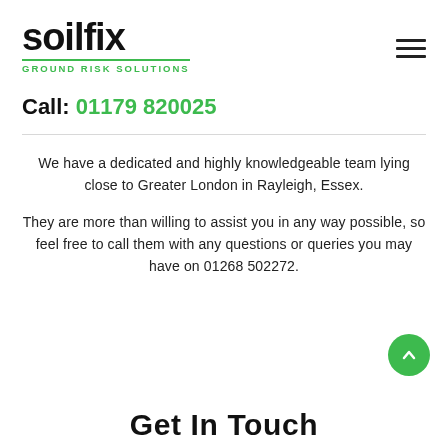[Figure (logo): Soilfix Ground Risk Solutions logo — bold black wordmark with green dot accent and green subtitle text]
Call: 01179 820025
We have a dedicated and highly knowledgeable team lying close to Greater London in Rayleigh, Essex.
They are more than willing to assist you in any way possible, so feel free to call them with any questions or queries you may have on 01268 502272.
Get In Touch